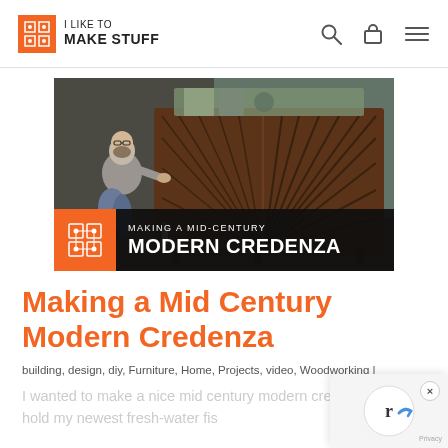I LIKE TO MAKE STUFF
[Figure (photo): A man kneeling next to a dark walnut mid-century modern credenza with a sunburst door pattern, opening one of the sliding doors. The thumbnail has a banner overlay reading 'MAKING A MID-CENTURY MODERN CREDENZA' with an orange logo icon on the left.]
Making a Mid Century Modern Credenza
building, design, diy, Furniture, Home, Projects, video, Woodworking |
I wanted to make a nice mid century modern credenza to hold my newest fresh-water fish